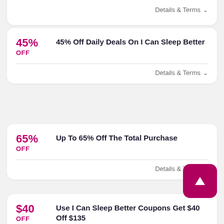Details & Terms
45% OFF — 45% Off Daily Deals On I Can Sleep Better
Details & Terms
65% OFF — Up To 65% Off The Total Purchase
Details & Terms
$40 OFF — Use I Can Sleep Better Coupons Get $40 Off $135